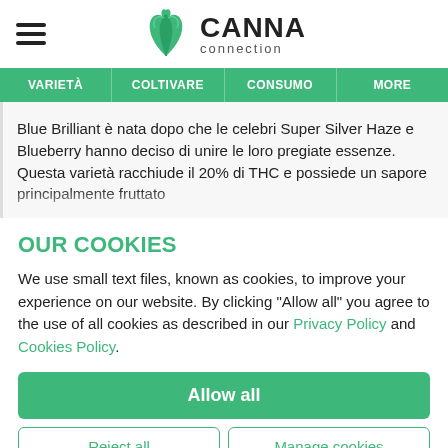[Figure (logo): Canna Connection logo with cannabis leaf icon and hamburger menu icon on the left]
VARIETÀ | COLTIVARE | CONSUMO | MORE
Blue Brilliant è nata dopo che le celebri Super Silver Haze e Blueberry hanno deciso di unire le loro pregiate essenze. Questa varietà racchiude il 20% di THC e possiede un sapore principalmente fruttato
OUR COOKIES
We use small text files, known as cookies, to improve your experience on our website. By clicking "Allow all" you agree to the use of all cookies as described in our Privacy Policy and Cookies Policy.
Allow all
Reject all
Manage cookies